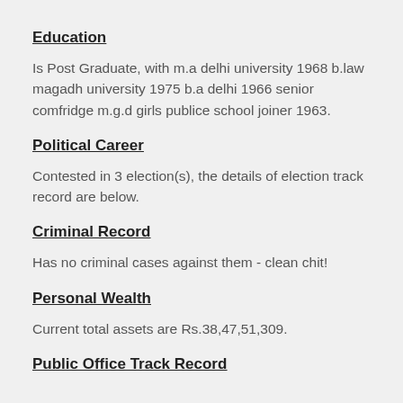Education
Is Post Graduate, with m.a delhi university 1968 b.law magadh university 1975 b.a delhi 1966 senior comfridge m.g.d girls publice school joiner 1963.
Political Career
Contested in 3 election(s), the details of election track record are below.
Criminal Record
Has no criminal cases against them - clean chit!
Personal Wealth
Current total assets are Rs.38,47,51,309.
Public Office Track Record